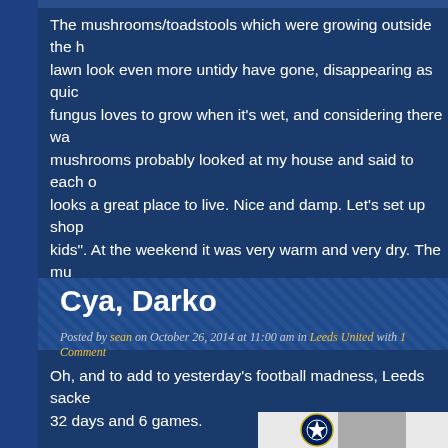The mushrooms/toadstools which were growing outside the house and making the lawn look even more untidy have gone, disappearing as quickly as they came. A fungus loves to grow when it's wet, and considering there was a lot of rain, the mushrooms probably looked at my house and said to each other 'Ooh, this looks a great place to live. Nice and damp. Let's set up shop here and have kids'. At the weekend it was very warm and very dry. The mushrooms are gone and very, very dead. Hahaha.
Cya, Darko
Posted by sean on October 26, 2014 at 11:00 am in Leeds United with 1 Comment
Oh, and to add to yesterday's football madness, Leeds sacked Darko Milanic after 32 days and 6 games.
[Figure (photo): Thumbnail image showing UEFA Champions League logo and a person's photo]